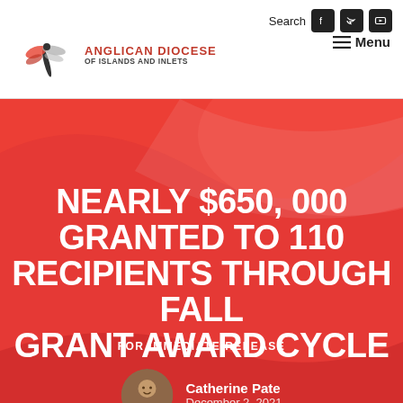Search | Anglican Diocese of Islands and Inlets | Menu
[Figure (logo): Anglican Diocese of Islands and Inlets logo with dragonfly graphic and red/grey text]
NEARLY $650,000 GRANTED TO 110 RECIPIENTS THROUGH FALL GRANT AWARD CYCLE
FOR IMMEDIATE RELEASE
Catherine Pate
December 2, 2021